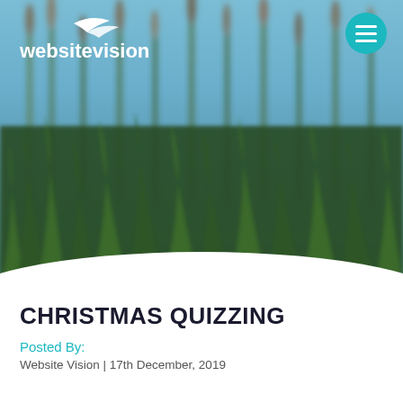[Figure (photo): Blurred outdoor photograph showing tall green grass and reeds against a blue sky, used as a hero banner background image for a blog post page.]
websitevision
CHRISTMAS QUIZZING
Posted By:
Website Vision | 17th December, 2019